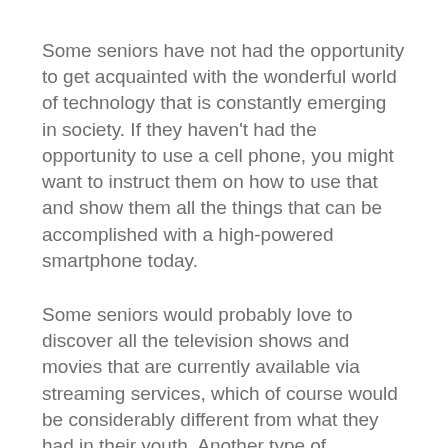Some seniors have not had the opportunity to get acquainted with the wonderful world of technology that is constantly emerging in society. If they haven't had the opportunity to use a cell phone, you might want to instruct them on how to use that and show them all the things that can be accomplished with a high-powered smartphone today.
Some seniors would probably love to discover all the television shows and movies that are currently available via streaming services, which of course would be considerably different from what they had in their youth. Another type of technology you might want to expose your senior loved one to is telemedicine, in which they can keep a doctor appointment via video conference rather than an actual in-person visit. There are even some new cooking technologies that your senior loved